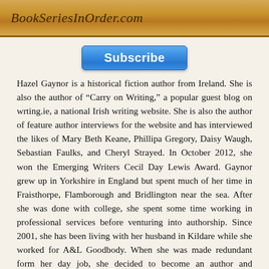BookSeriesInOrder.com
[Figure (other): Blue Subscribe button]
Hazel Gaynor is a historical fiction author from Ireland. She is also the author of “Carry on Writing,” a popular guest blog on wrting.ie, a national Irish writing website. She is also the author of feature author interviews for the website and has interviewed the likes of Mary Beth Keane, Phillipa Gregory, Daisy Waugh, Sebastian Faulks, and Cheryl Strayed. In October 2012, she won the Emerging Writers Cecil Day Lewis Award. Gaynor grew up in Yorkshire in England but spent much of her time in Fraisthorpe, Flamborough and Bridlington near the sea. After she was done with college, she spent some time working in professional services before venturing into authorship. Since 2001, she has been living with her husband in Kildare while she worked for A&L Goodbody. When she was made redundant form her day job, she decided to become an author and published “The Girl Who Came Home” in 2012.